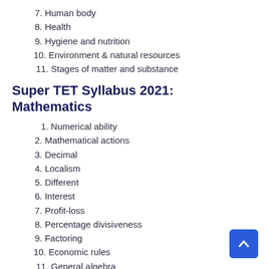7. Human body
8. Health
9. Hygiene and nutrition
10. Environment & natural resources
11. Stages of matter and substance
Super TET Syllabus 2021: Mathematics
1. Numerical ability
2. Mathematical actions
3. Decimal
4. Localism
5. Different
6. Interest
7. Profit-loss
8. Percentage divisiveness
9. Factoring
10. Economic rules
11. General algebra
12. Area average
13. Volume